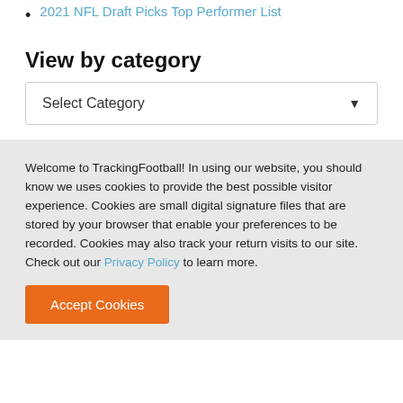2021 NFL Draft Picks Top Performer List
View by category
Select Category
Welcome to TrackingFootball! In using our website, you should know we uses cookies to provide the best possible visitor experience. Cookies are small digital signature files that are stored by your browser that enable your preferences to be recorded. Cookies may also track your return visits to our site. Check out our Privacy Policy to learn more.
Accept Cookies